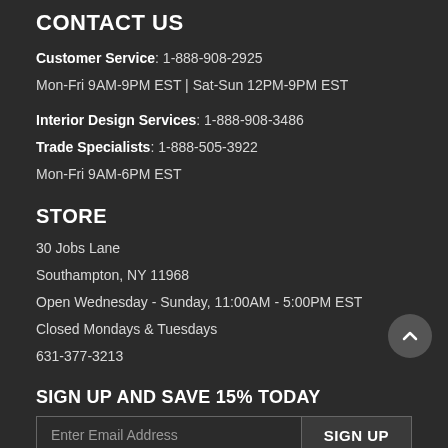CONTACT US
Customer Service: 1-888-908-2925
Mon-Fri 9AM-9PM EST | Sat-Sun 12PM-9PM EST
Interior Design Services: 1-888-908-3486
Trade Specialists: 1-888-505-3922
Mon-Fri 9AM-6PM EST
STORE
30 Jobs Lane
Southampton, NY 11968
Open Wednesday - Sunday, 11:00AM - 5:00PM EST
Closed Mondays & Tuesdays
631-377-3213
SIGN UP AND SAVE 15% TODAY
Enter Email Address
SIGN UP